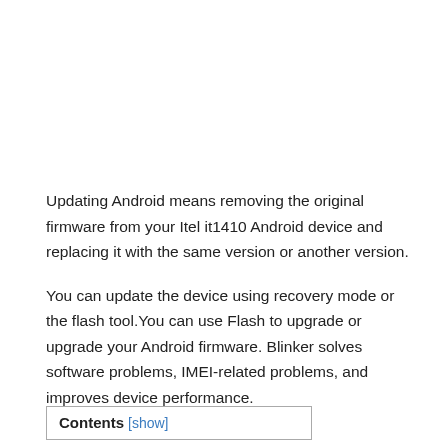Updating Android means removing the original firmware from your Itel it1410 Android device and replacing it with the same version or another version.
You can update the device using recovery mode or the flash tool.You can use Flash to upgrade or upgrade your Android firmware. Blinker solves software problems, IMEI-related problems, and improves device performance.
Contents [show]